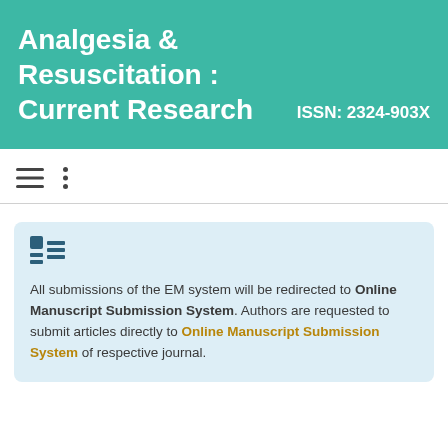Analgesia & Resuscitation : Current Research   ISSN: 2324-903X
[Figure (other): Navigation bar with hamburger menu icon and vertical dots (ellipsis) menu icon]
All submissions of the EM system will be redirected to Online Manuscript Submission System. Authors are requested to submit articles directly to Online Manuscript Submission System of respective journal.